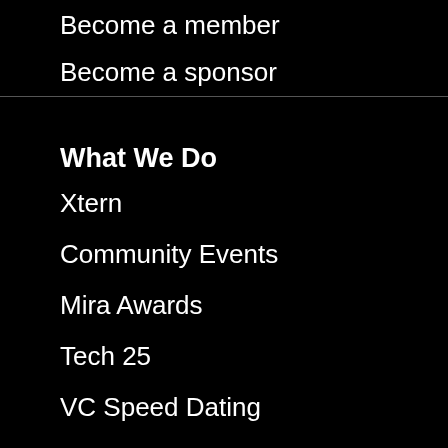Become a member
Become a sponsor
What We Do
Xtern
Community Events
Mira Awards
Tech 25
VC Speed Dating
Jobs in Tech
Facebook Twitter LinkedIn Email More